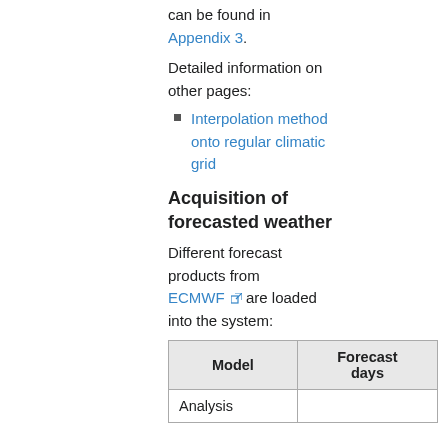can be found in Appendix 3.
Detailed information on other pages:
Interpolation method onto regular climatic grid
Acquisition of forecasted weather
Different forecast products from ECMWF are loaded into the system:
| Model | Forecast days |
| --- | --- |
| Analysis |  |